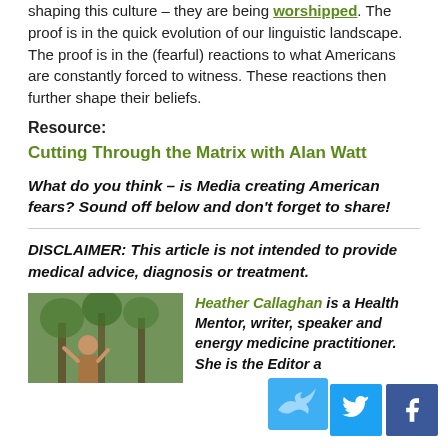shaping this culture – they are being worshipped. The proof is in the quick evolution of our linguistic landscape. The proof is in the (fearful) reactions to what Americans are constantly forced to witness. These reactions then further shape their beliefs.
Resource:
Cutting Through the Matrix with Alan Watt
What do you think – is Media creating American fears? Sound off below and don't forget to share!
DISCLAIMER: This article is not intended to provide medical advice, diagnosis or treatment.
Heather Callaghan is a Health Mentor, writer, speaker and energy medicine practitioner. She is the Editor a…
[Figure (photo): Photo of a person outdoors among trees]
[Figure (other): Social share buttons: Twitter and Facebook]